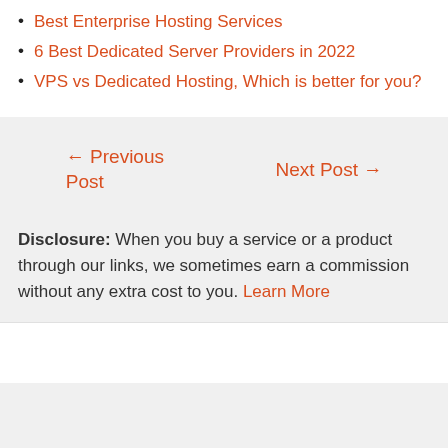Best Enterprise Hosting Services
6 Best Dedicated Server Providers in 2022
VPS vs Dedicated Hosting, Which is better for you?
← Previous Post
Next Post →
Disclosure: When you buy a service or a product through our links, we sometimes earn a commission without any extra cost to you. Learn More